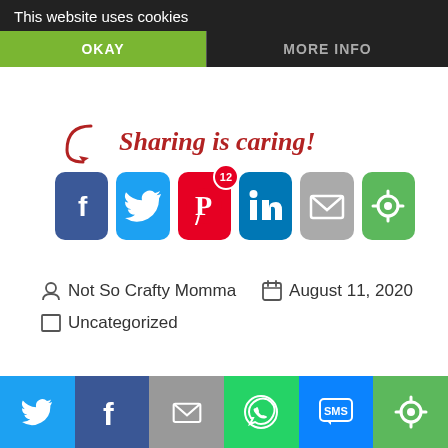This website uses cookies
OKAY
MORE INFO
[Figure (infographic): Sharing is caring! social share buttons for Facebook, Twitter, Pinterest (badge: 12), LinkedIn, Email, and a circular share icon]
Not So Crafty Momma    August 11, 2020
Uncategorized
[Figure (infographic): Bottom social sharing bar with Twitter, Facebook, Email, WhatsApp, SMS, and circular share icon buttons]